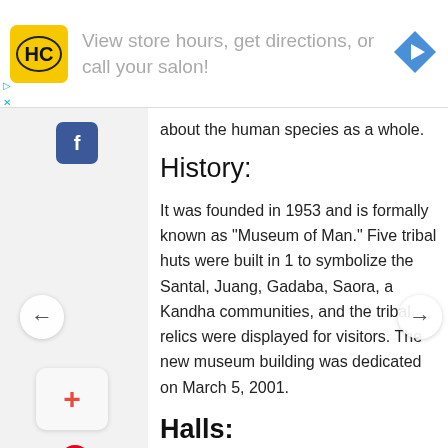[Figure (infographic): Advertisement banner: HC logo in yellow square, text 'View store hours, get directions, or call your salon!', blue diamond navigation arrow icon on right]
about the human species as a whole.
History:
It was founded in 1953 and is formally known as "Museum of Man." Five tribal huts were built in 1 to symbolize the Santal, Juang, Gadaba, Saora, a Kandha communities, and the tribal relics were displayed for visitors. The new museum building was dedicated on March 5, 2001.
Halls:
Hall I – Personal Adornments
Hall II – Personal Belongings, Arts, Paintings